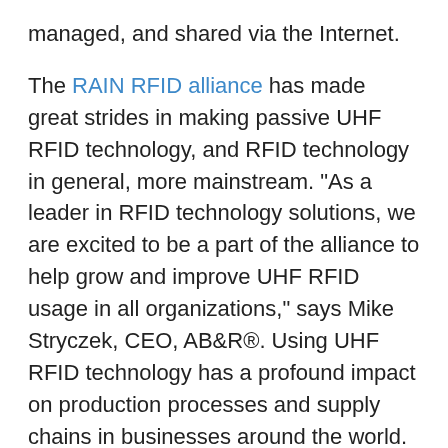managed, and shared via the Internet.
The RAIN RFID alliance has made great strides in making passive UHF RFID technology, and RFID technology in general, more mainstream. “As a leader in RFID technology solutions, we are excited to be a part of the alliance to help grow and improve UHF RFID usage in all organizations,” says Mike Stryczek, CEO, AB&R®. Using UHF RFID technology has a profound impact on production processes and supply chains in businesses around the world.
For complete details visit https://www.abr.com.
About AB&R®
Since 1980, AB&R® (American Barcode and RFID) has been a nationally-recognized integrator of